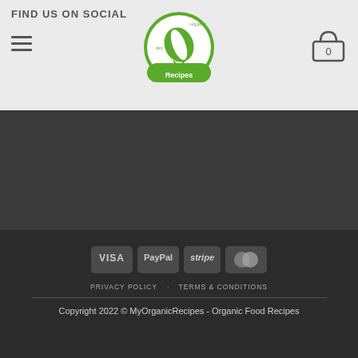FIND US ON SOCIAL
[Figure (logo): My Organic Recipes circular green logo with leaf]
[Figure (infographic): Shopping cart icon with 0]
[Figure (infographic): Social media icons: Facebook, Twitter, Email in dark section]
[Figure (infographic): Payment method badges: VISA, PayPal, stripe, MasterCard]
PRIVACY POLICY   TERMS & CONDITIONS
Copyright 2022 © MyOrganicRecipes - Organic Food Recipes